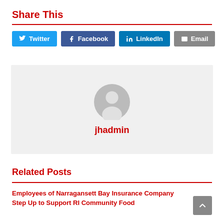Share This
Twitter
Facebook
LinkedIn
Email
[Figure (photo): Default user avatar placeholder icon with grey circular background and silhouette, with username 'jhadmin' below]
Related Posts
Employees of Narragansett Bay Insurance Company Step Up to Support RI Community Food